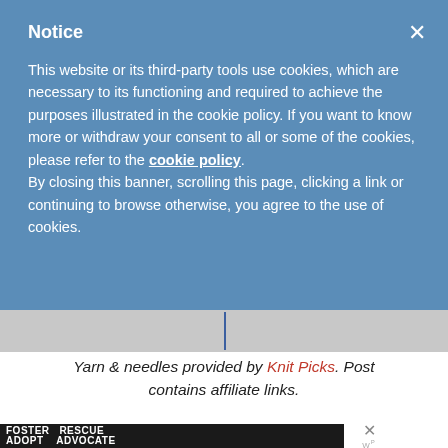Notice
This website or its third-party tools use cookies, which are necessary to its functioning and required to achieve the purposes illustrated in the cookie policy. If you want to know more or withdraw your consent to all or some of the cookies, please refer to the cookie policy. By closing this banner, scrolling this page, clicking a link or continuing to browse otherwise, you agree to the use of cookies.
Yarn & needles provided by Knit Picks. Post contains affiliate links.
[Figure (photo): Dog foster/adopt/advocate advertisement banner with a beagle dog photo and close button]